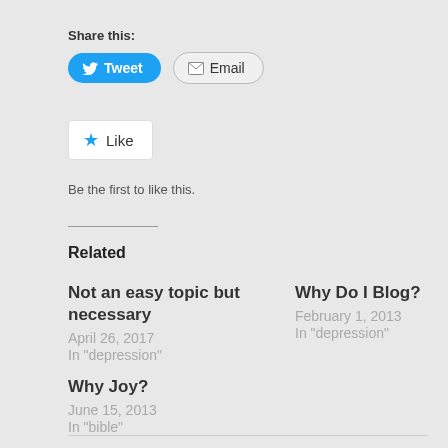Share this:
[Figure (other): Tweet button (blue rounded, Twitter bird icon) and Email button (grey rounded, envelope icon)]
[Figure (other): Like button with blue star icon and text 'Like']
Be the first to like this.
Related
Not an easy topic but necessary
April 26, 2017
In "depression"
Why Do I Blog?
February 1, 2013
In "depression"
Why Joy?
June 15, 2013
In "bible"